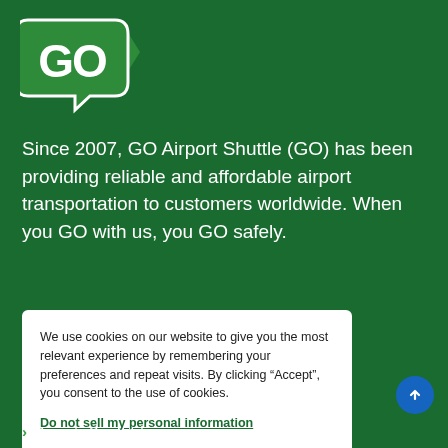[Figure (logo): GO Airport Shuttle logo — white 'GO' text inside a green speech-bubble arrow shape]
Since 2007, GO Airport Shuttle (GO) has been providing reliable and affordable airport transportation to customers worldwide. When you GO with us, you GO safely.
We use cookies on our website to give you the most relevant experience by remembering your preferences and repeat visits. By clicking “Accept”, you consent to the use of cookies.
Do not sell my personal information
Cookie Settings
Accept
Airports Serviced